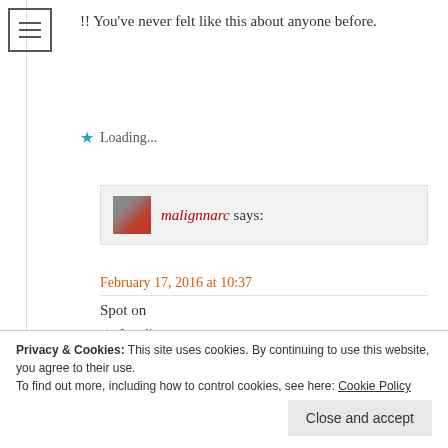[Figure (illustration): Hamburger menu icon (three horizontal lines in a bordered box)]
!! You've never felt like this about anyone before.
Loading...
[Figure (photo): Small avatar image of malignnarc author]
malignnarc says:
February 17, 2016 at 10:37
Spot on
Loading...
Privacy & Cookies: This site uses cookies. By continuing to use this website, you agree to their use.
To find out more, including how to control cookies, see here: Cookie Policy
Close and accept